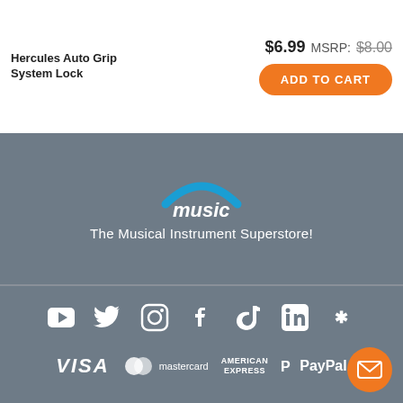Hercules Auto Grip System Lock
$6.99 MSRP: $8.00
ADD TO CART
[Figure (logo): Cosmo Music logo with blue arc and italic white 'music' text]
The Musical Instrument Superstore!
[Figure (infographic): Social media icons: YouTube, Twitter, Instagram, Facebook, TikTok, LinkedIn, Yelp — all white on gray background]
[Figure (infographic): Payment method logos: VISA, Mastercard, American Express, PayPal — all white on gray background]
© 2022 Cosmo Music. All rights reserved.